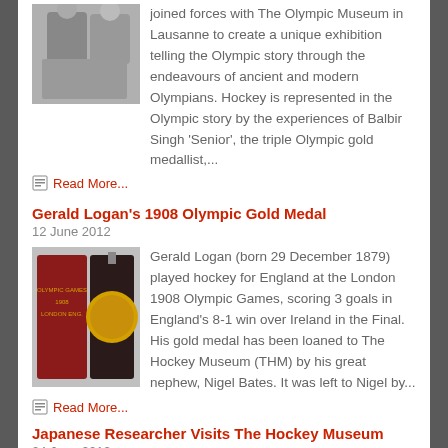joined forces with The Olympic Museum in Lausanne to create a unique exhibition telling the Olympic story through the endeavours of ancient and modern Olympians. Hockey is represented in the Olympic story by the experiences of Balbir Singh 'Senior', the triple Olympic gold medallist,...
[Figure (photo): Two men in formal attire standing together]
Read More...
Gerald Logan's 1908 Olympic Gold Medal
12 June 2012
[Figure (photo): Photo of a gold medal in a red case]
Gerald Logan (born 29 December 1879) played hockey for England at the London 1908 Olympic Games, scoring 3 goals in England's 8-1 win over Ireland in the Final. His gold medal has been loaned to The Hockey Museum (THM) by his great nephew, Nigel Bates. It was left to Nigel by...
Read More...
Japanese Researcher Visits The Hockey Museum
04 June 2012